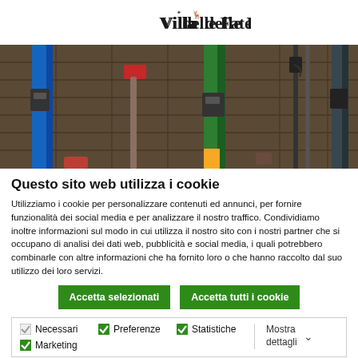[Figure (logo): Villa delle Fate logo with stylized text and small deer/trees graphic]
[Figure (photo): Photo of ski equipment (blue and green skis, red shovel, ski poles) leaning against a wooden wall]
Questo sito web utilizza i cookie
Utilizziamo i cookie per personalizzare contenuti ed annunci, per fornire funzionalità dei social media e per analizzare il nostro traffico. Condividiamo inoltre informazioni sul modo in cui utilizza il nostro sito con i nostri partner che si occupano di analisi dei dati web, pubblicità e social media, i quali potrebbero combinarle con altre informazioni che ha fornito loro o che hanno raccolto dal suo utilizzo dei loro servizi.
Accetta selezionati
Accetta tutti i cookie
Necessari  Preferenze  Statistiche  Marketing  Mostra dettagli